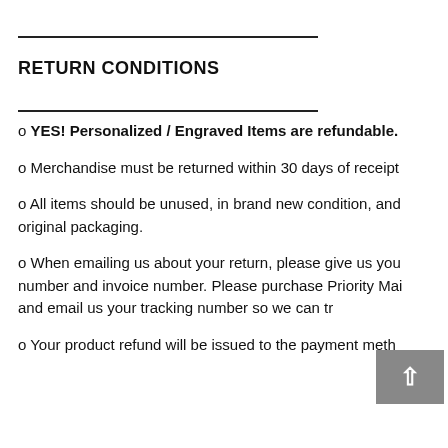RETURN CONDITIONS
YES! Personalized / Engraved Items are refundable.
Merchandise must be returned within 30 days of receipt
All items should be unused, in brand new condition, and original packaging.
When emailing us about your return, please give us your number and invoice number. Please purchase Priority Mail and email us your tracking number so we can track your r
Your product refund will be issued to the payment meth